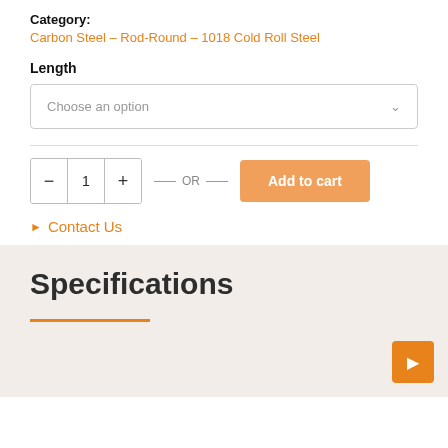Category:
Carbon Steel – Rod-Round – 1018 Cold Roll Steel
Length
Choose an option
— OR — Add to cart
▶ Contact Us
Specifications